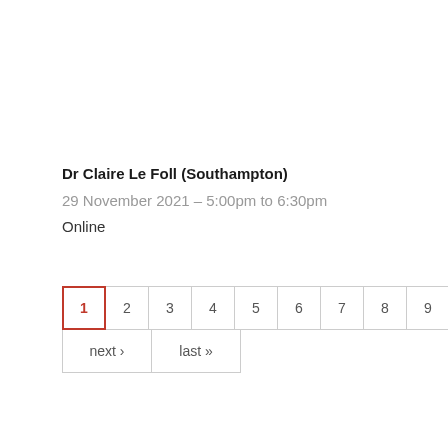Dr Claire Le Foll (Southampton)
29 November 2021 – 5:00pm to 6:30pm
Online
Pagination: 1 2 3 4 5 6 7 8 9 ... next › last »